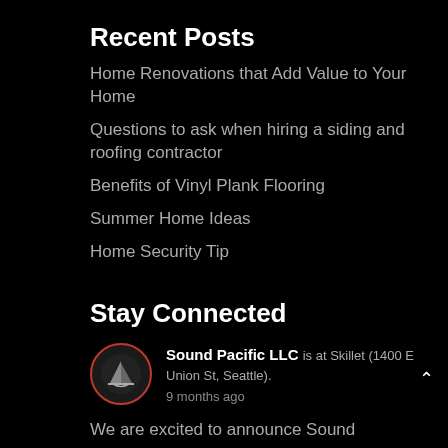Recent Posts
Home Renovations that Add Value to Your Home
Questions to ask when hiring a siding and roofing contractor
Benefits of Vinyl Plank Flooring
Summer Home Ideas
Home Security Tip
Stay Connected
Sound Pacific LLC is at Skillet (1400 E Union St, Seattle). 9 months ago
We are excited to announce Sound